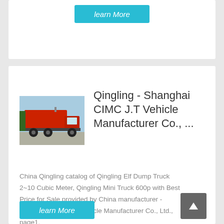learn More
[Figure (photo): Red dump truck photographed against a blue sky]
Qingling - Shanghai CIMC J.T Vehicle Manufacturer Co., ...
China Qingling catalog of Qingling Elf Dump Truck 2~10 Cubic Meter, Qingling Mini Truck 600p with Best Price for Sale provided by China manufacturer - Shanghai CIMC J.T Vehicle Manufacturer Co., Ltd., page1.
learn More